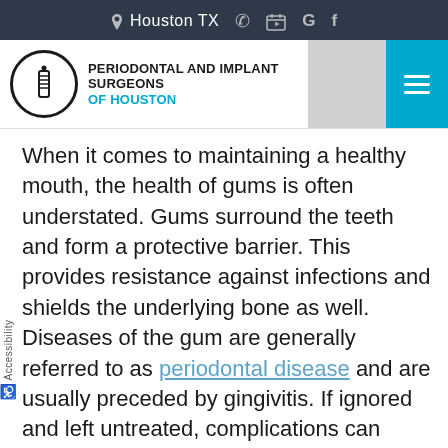Houston TX
[Figure (logo): Periodontal and Implant Surgeons of Houston logo with circular icon]
When it comes to maintaining a healthy mouth, the health of gums is often understated. Gums surround the teeth and form a protective barrier. This provides resistance against infections and shields the underlying bone as well. Diseases of the gum are generally referred to as periodontal disease and are usually preceded by gingivitis. If ignored and left untreated, complications can occur that can lead to tooth loss in severe cases. We at Periodontal and Implant Surgeons of Houston can provide the best care and help you avoid such incidents.